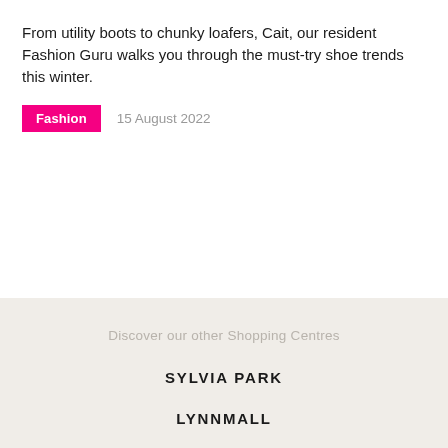From utility boots to chunky loafers, Cait, our resident Fashion Guru walks you through the must-try shoe trends this winter.
Fashion   15 August 2022
Discover our other Shopping Centres
SYLVIA PARK
LYNNMALL